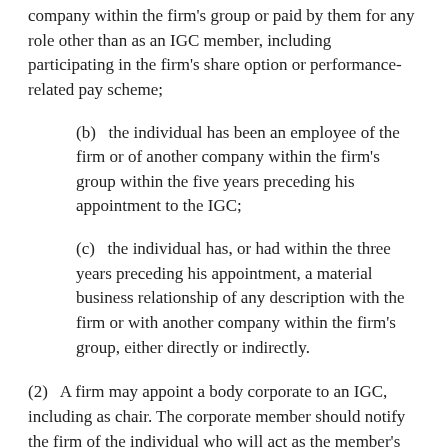company within the firm's group or paid by them for any role other than as an IGC member, including participating in the firm's share option or performance-related pay scheme;
(b)   the individual has been an employee of the firm or of another company within the firm's group within the five years preceding his appointment to the IGC;
(c)   the individual has, or had within the three years preceding his appointment, a material business relationship of any description with the firm or with another company within the firm's group, either directly or indirectly.
(2)   A firm may appoint a body corporate to an IGC, including as chair. The corporate member should notify the firm of the individual who will act as the member's representative on the IGC. A firm should consider the